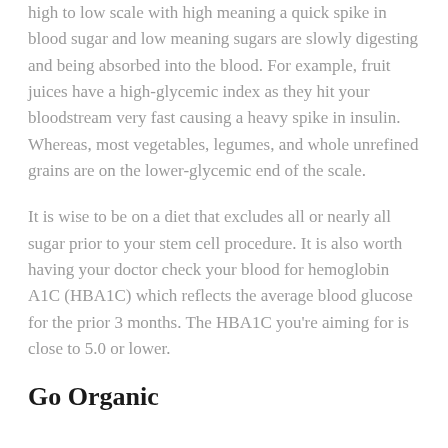high to low scale with high meaning a quick spike in blood sugar and low meaning sugars are slowly digesting and being absorbed into the blood. For example, fruit juices have a high-glycemic index as they hit your bloodstream very fast causing a heavy spike in insulin. Whereas, most vegetables, legumes, and whole unrefined grains are on the lower-glycemic end of the scale.
It is wise to be on a diet that excludes all or nearly all sugar prior to your stem cell procedure. It is also worth having your doctor check your blood for hemoglobin A1C (HBA1C) which reflects the average blood glucose for the prior 3 months. The HBA1C you're aiming for is close to 5.0 or lower.
Go Organic